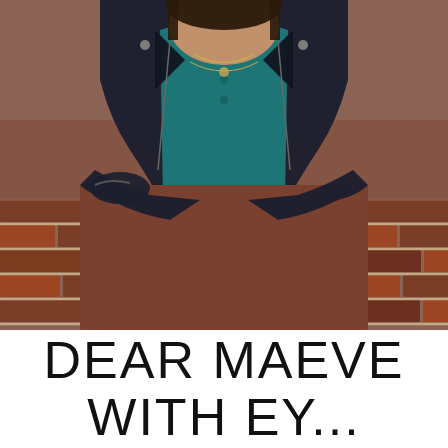[Figure (photo): A person wearing a black leather jacket over a teal/dark green button-up shirt, leaning over a rustic brick wall. They have layered necklaces and their arms are crossed. Background is a brick wall.]
DEAR MAEVE
WITH EY...